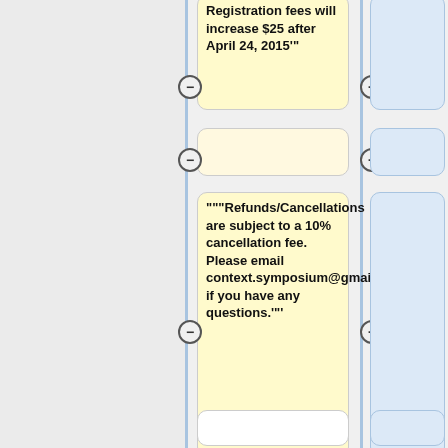[Figure (flowchart): Flowchart/wiki editor diff view showing nodes with text content about registration fees and refunds. Left grey panel, vertical blue connector lines, yellow content nodes and blue/white comparison nodes with +/- toggle buttons.]
Registration fees will increase $25 after April 24, 2015'"
"""Refunds/Cancellations are subject to a 10% cancellation fee.  Please email context.symposium@gmail.com if you have any questions.'"'
== '"REGISTER HERE'"' ==
'"Note: Your PayPal